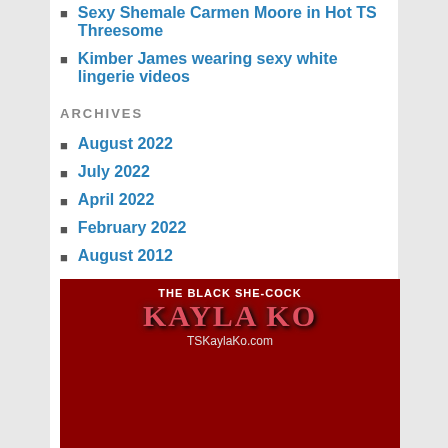Sexy Shemale Carmen Moore in Hot TS Threesome
Kimber James wearing sexy white lingerie videos
ARCHIVES
August 2022
July 2022
April 2022
February 2022
August 2012
[Figure (photo): Advertisement banner for TSKaylaKo.com showing text 'THE BLACK SHE-COCK KAYLA KO TSKaylaKo.com' on a dark red background with a photo below]